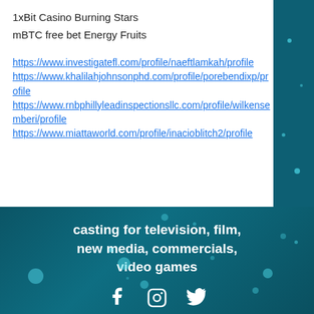1xBit Casino Burning Stars
mBTC free bet Energy Fruits
https://www.investigatefl.com/profile/naeftlamkah/profile
https://www.khalilahjohnsonphd.com/profile/porebendixp/profile
https://www.rnbphillyleadinspectionsllc.com/profile/wilkensemberi/profile
https://www.miattaworld.com/profile/inacioblitch2/profile
[Figure (screenshot): Dark teal background with white centered text reading 'casting for television, film, new media, commercials, video games' and social media icons (Facebook, Instagram, Twitter) at the bottom, with glowing cyan bokeh dots scattered throughout.]